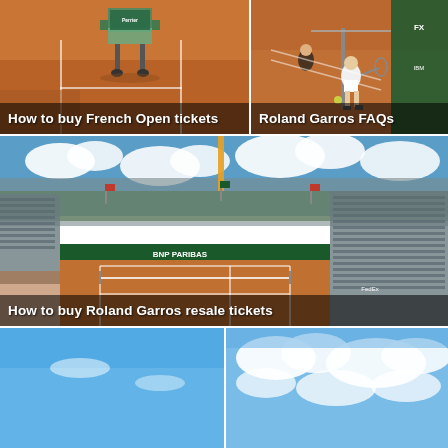[Figure (photo): Clay tennis court close-up with a Perrier umpire chair on a roller, Roland Garros]
How to buy French Open tickets
[Figure (photo): Two tennis players at the net on a clay court at Roland Garros]
Roland Garros FAQs
[Figure (photo): Wide aerial view of a Roland Garros clay court stadium with seating and BNP Paribas advertising boards, flags flying, blue sky with clouds]
How to buy Roland Garros resale tickets
[Figure (photo): Blue sky photo - left portion]
[Figure (photo): Blue sky with clouds - right portion]